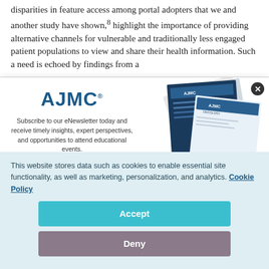disparities in feature access among portal adopters that we and another study have shown,8 highlight the importance of providing alternative channels for vulnerable and traditionally less engaged patient populations to view and share their health information. Such a need is echoed by findings from a
[Figure (screenshot): AJMC newsletter subscription modal with logo, description text, first name and last name input fields, and a stack of AJMC magazine/publication images on the right side. A close button (×) is in the top-right corner.]
This website stores data such as cookies to enable essential site functionality, as well as marketing, personalization, and analytics. Cookie Policy
Accept
Deny